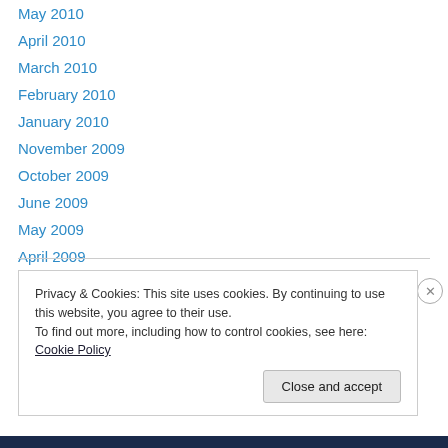May 2010
April 2010
March 2010
February 2010
January 2010
November 2009
October 2009
June 2009
May 2009
April 2009
March 2009
Privacy & Cookies: This site uses cookies. By continuing to use this website, you agree to their use. To find out more, including how to control cookies, see here: Cookie Policy
Close and accept